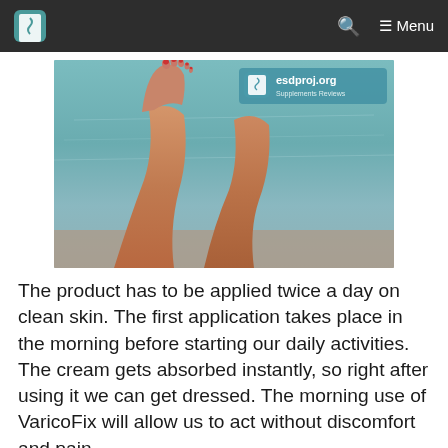esdproj.org  🔍  ≡ Menu
[Figure (photo): Photo of a person's legs raised up, with a teal/poolside background. Watermark reads esdproj.org Supplements Reviews.]
The product has to be applied twice a day on clean skin. The first application takes place in the morning before starting our daily activities. The cream gets absorbed instantly, so right after using it we can get dressed. The morning use of VaricoFix will allow us to act without discomfort and pain.